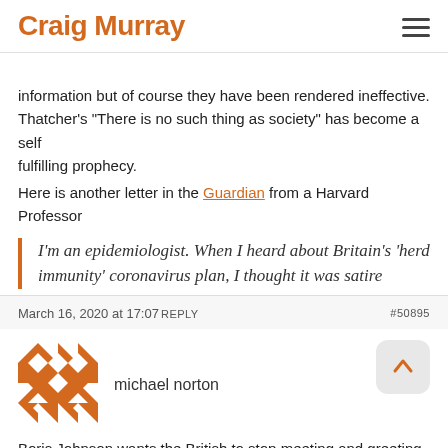Craig Murray
information but of course they have been rendered ineffective. Thatcher's "There is no such thing as society" has become a self fulfilling prophecy.
Here is another letter in the Guardian from a Harvard Professor
I'm an epidemiologist. When I heard about Britain's 'herd immunity' coronavirus plan, I thought it was satire
March 16, 2020 at 17:07 REPLY   #50895
[Figure (illustration): Avatar icon for user michael norton — orange and white geometric pattern]
michael norton
Boris Johnson wants the British to stop meeting and greeting each other, also to stop all travel, unless it is for emergency or for